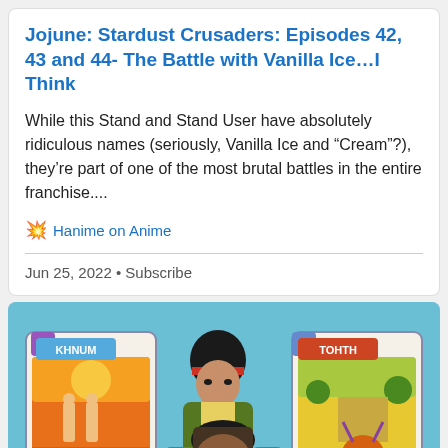Jojune: Stardust Crusaders: Episodes 42, 43 and 44- The Battle with Vanilla Ice…I Think
While this Stand and Stand User have absolutely ridiculous names (seriously, Vanilla Ice and “Cream”?), they’re part of one of the most brutal battles in the entire franchise....
💥 Hanime on Anime
Jun 25, 2022 • Subscribe
[Figure (illustration): Anime scene from JoJo's Bizarre Adventure Stardust Crusaders showing two characters with two tarot-style stand cards: left card labeled KHNUM (number 6), right card labeled TOHTH (number 7), against a teal/orange background.]